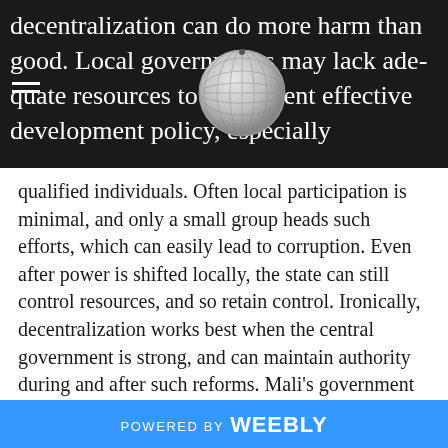decentralization can do more harm than good. Local governments may lack adequate resources to implement effective development policy, especially
qualified individuals. Often local participation is minimal, and only a small group heads such efforts, which can easily lead to corruption. Even after power is shifted locally, the state can still control resources, and so retain control. Ironically, decentralization works best when the central government is strong, and can maintain authority during and after such reforms. Mali's government is not one of these.
The history of decentralization in Mali has largely been a story of success, yet it is now more than ever plagued with structural weaknesses. In the beginning stages of the Tuareg-led rebellion, a national conference of major local actors was held, where they outlined their
POWERED BY weebly